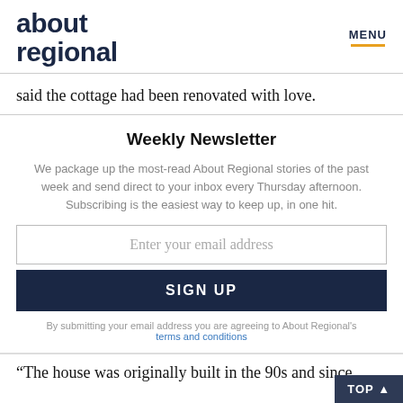about regional | MENU
said the cottage had been renovated with love.
Weekly Newsletter
We package up the most-read About Regional stories of the past week and send direct to your inbox every Thursday afternoon. Subscribing is the easiest way to keep up, in one hit.
Enter your email address
SIGN UP
By submitting your email address you are agreeing to About Regional's terms and conditions
“The house was originally built in the 90s and since